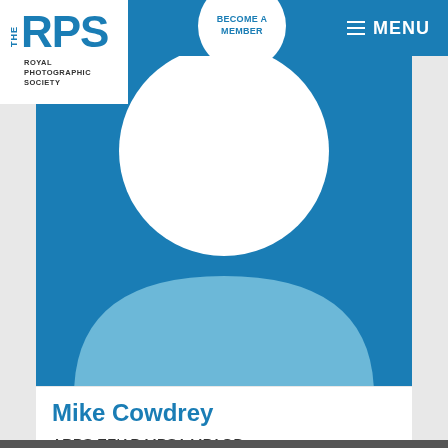[Figure (logo): The Royal Photographic Society logo with blue RPS letters and subtitle text]
BECOME A MEMBER
MENU
[Figure (illustration): Placeholder profile avatar with white circle head and light blue body shape on blue background]
Mike Cowdrey
ARPS EFIAP MPSA MPAGB